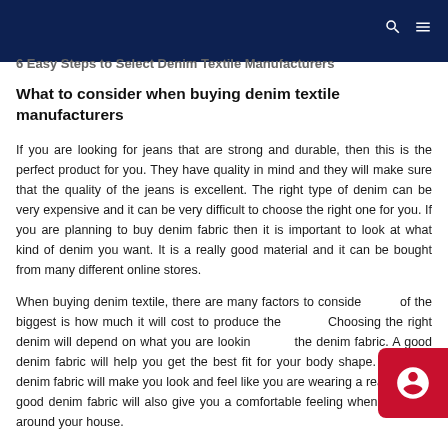6 Easy Steps to Select Denim Textile Manufacturers
What to consider when buying denim textile manufacturers
If you are looking for jeans that are strong and durable, then this is the perfect product for you. They have quality in mind and they will make sure that the quality of the jeans is excellent. The right type of denim can be very expensive and it can be very difficult to choose the right one for you. If you are planning to buy denim fabric then it is important to look at what kind of denim you want. It is a really good material and it can be bought from many different online stores.
When buying denim textile, there are many factors to consider. One of the biggest is how much it will cost to produce the denim. Choosing the right denim will depend on what you are looking for in the denim fabric. A good denim fabric will help you get the best fit for your body shape. The right denim fabric will make you look and feel like you are wearing a real thing. A good denim fabric will also give you a comfortable feeling when you walk around your house.